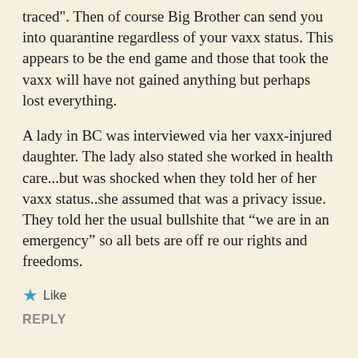traced". Then of course Big Brother can send you into quarantine regardless of your vaxx status. This appears to be the end game and those that took the vaxx will have not gained anything but perhaps lost everything.
A lady in BC was interviewed via her vaxx-injured daughter. The lady also stated she worked in health care...but was shocked when they told her of her vaxx status..she assumed that was a privacy issue. They told her the usual bullshite that “we are in an emergency” so all bets are off re our rights and freedoms.
Like
REPLY